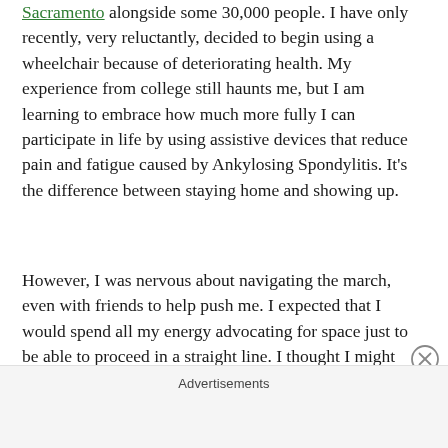Sacramento alongside some 30,000 people. I have only recently, very reluctantly, decided to begin using a wheelchair because of deteriorating health. My experience from college still haunts me, but I am learning to embrace how much more fully I can participate in life by using assistive devices that reduce pain and fatigue caused by Ankylosing Spondylitis. It's the difference between staying home and showing up.
However, I was nervous about navigating the march, even with friends to help push me. I expected that I would spend all my energy advocating for space just to be able to proceed in a straight line. I thought I might regret the decision to use the chair, even though not using it could result in being bedridden for days or weeks.
Advertisements